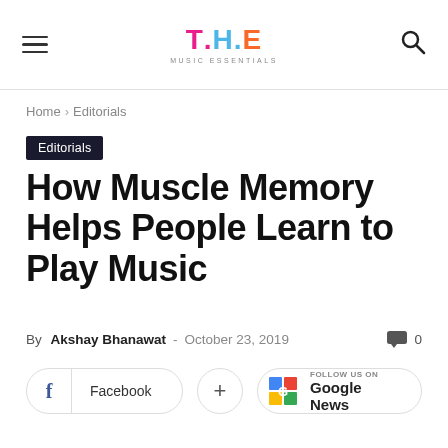T.H.E MUSIC ESSENTIALS — navigation header with hamburger menu and search icon
Home › Editorials
Editorials
How Muscle Memory Helps People Learn to Play Music
By Akshay Bhanawat - October 23, 2019  0
Facebook  +  FOLLOW US ON Google News